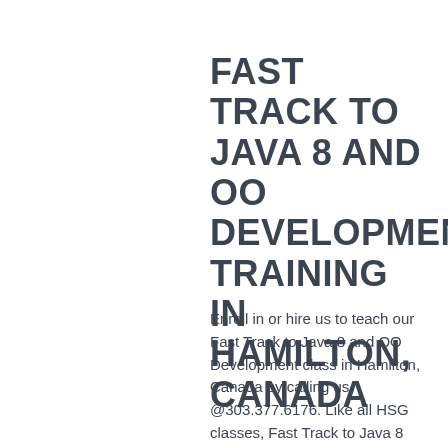FAST TRACK TO JAVA 8 AND OO DEVELOPMENT TRAINING IN HAMILTON, CANADA
Enroll in or hire us to teach our Fast Track to Java 8 and OO Development class in Hamilton, Canada by calling us @303.377.6176. Like all HSG classes, Fast Track to Java 8 and OO Development may be offered either onsite or via instructor led virtual training. Consider looking at our public training schedule to see if it is